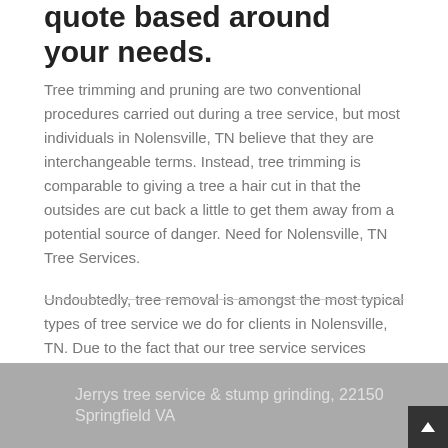quote based around your needs.
Tree trimming and pruning are two conventional procedures carried out during a tree service, but most individuals in Nolensville, TN believe that they are interchangeable terms. Instead, tree trimming is comparable to giving a tree a hair cut in that the outsides are cut back a little to get them away from a potential source of danger. Need for Nolensville, TN Tree Services.
Undoubtedly, tree removal is amongst the most typical types of tree service we do for clients in Nolensville, TN. Due to the fact that our tree service services enable trees to continue growing in a healthy and breathtaking manner, clients love it.
Jerrys tree service & stump grinding, 22150 Springfield VA